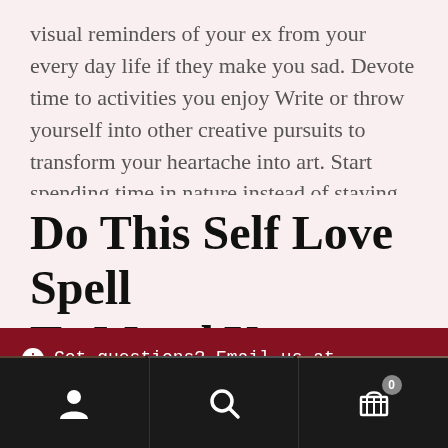visual reminders of your ex from your every day life if they make you sad. Devote time to activities you enjoy Write or throw yourself into other creative pursuits to transform your heartache into art. Start spending time in nature instead of staying cooped up in your house!
Do This Self Love Spell To Mend Your Broken
Got questions? Email us at info@parlourofwonders.com Dismiss